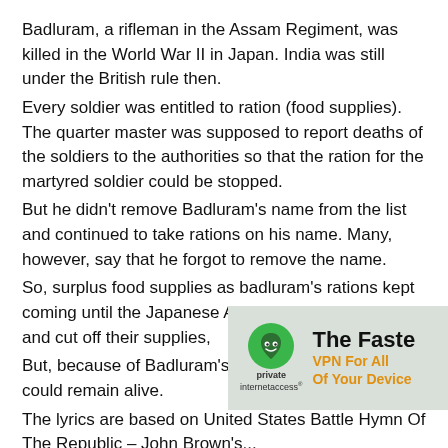Badluram, a rifleman in the Assam Regiment, was killed in the World War II in Japan. India was still under the British rule then.
Every soldier was entitled to ration (food supplies). The quarter master was supposed to report deaths of the soldiers to the authorities so that the ration for the martyred soldier could be stopped.
But he didn't remove Badluram's name from the list and continued to take rations on his name. Many, however, say that he forgot to remove the name.
So, surplus food supplies as badluram's rations kept coming until the Japanese Army surrounded them and cut off their supplies,
But, because of Badluram's supplies the soldiers could remain alive.
The lyrics are based on United States Battle Hymn Of The Republic – John Brown's... John Brown's Body was quite popu...
[Figure (other): Private Internet Access VPN advertisement overlay showing green VPN shield logo with 'private internetaccess' text, and bold text reading 'The Faste' and 'VPN For All Of Your Device' in orange/black on a gray-green background.]